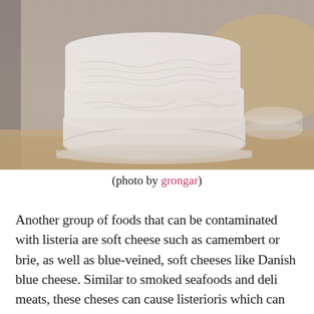[Figure (photo): Close-up photograph of stacked round soft white cheeses (such as camembert or brie) with white rind, on a light surface, soft blurred background]
(photo by grongar)
Another group of foods that can be contaminated with listeria are soft cheese such as camembert or brie, as well as blue-veined, soft cheeses like Danish blue cheese. Similar to smoked seafoods and deli meats, these cheses can cause listerioris which can lead to miscarriages, stillbirths, and